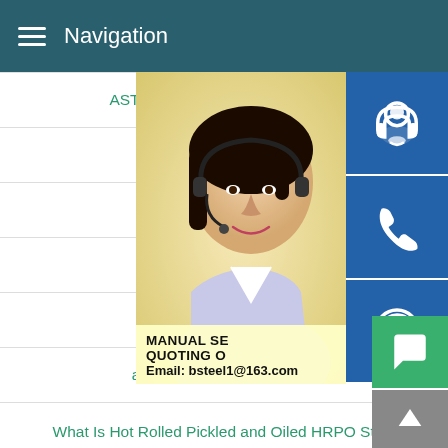Navigation
ASTM A333 Gr. 6 Seamless Stee
sa709 gr 50w supp
q460d steel tubing
how to fix corten ste
abs fh36 price in ch
astm a 439 chemical comp
What Is Hot Rolled Pickled and Oiled HRPO Steel
En10216 Cold Drawn Precision Seamless Steel Pipe
[Figure (photo): Customer service representative with headset, contact service overlay with headset icon, phone icon, Skype icon buttons, and promotional text: MANUAL SE... QUOTING O... Email: bsteel1@163.com]